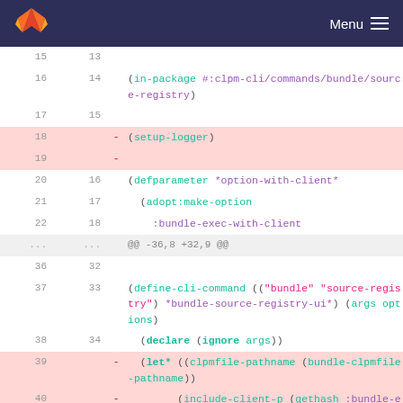GitLab logo | Menu
Code diff view showing lines 15-41 of a Lisp source file (clpm-cli/commands/bundle/source-registry)
15 13
16 14 (in-package #:clpm-cli/commands/bundle/source-registry)
17 15
18 - (setup-logger)
19 -
20 16 (defparameter *option-with-client*
21 17 (adopt:make-option
22 18 :bundle-exec-with-client
... ... @@ -36,8 +32,9 @@
36 32
37 33 (define-cli-command (("bundle" "source-registry") *bundle-source-registry-ui*) (args options)
38 34 (declare (ignore args))
39 - (let* ((clpmfile-pathname (bundle-clpmfile-pathname))
40 - (include-client-p (gethash :bundle-exec-with-client options))
41 - (cl-source-registry-form